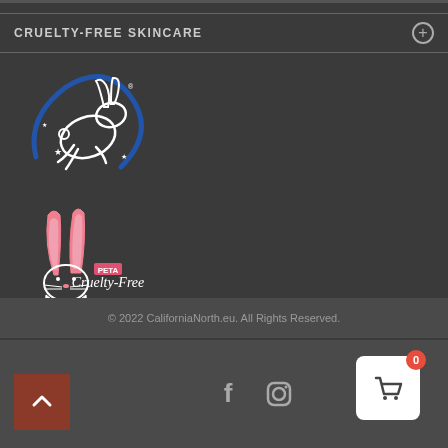CRUELTY-FREE SKINCARE
[Figure (logo): Leaping Bunny cruelty-free certification logo — white rabbit leaping with blue circular arc and stars]
[Figure (logo): PETA Cruelty-Free logo — pink rabbit ears with PETA badge and Cruelty-Free text in cursive]
© 2022 CaliforniaNorth.eu. All Rights Reserved.